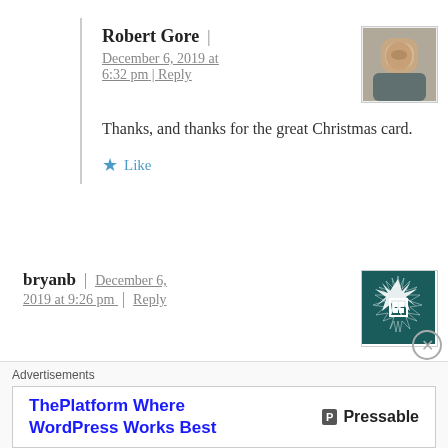Robert Gore | December 6, 2019 at 6:32 pm | Reply
Thanks, and thanks for the great Christmas card.
Like
bryanb | December 6, 2019 at 9:26 pm | Reply
i find myself wondering whether soviet dissidents engaged in similar
Advertisements
ThePlatform Where WordPress Works Best    P Pressable